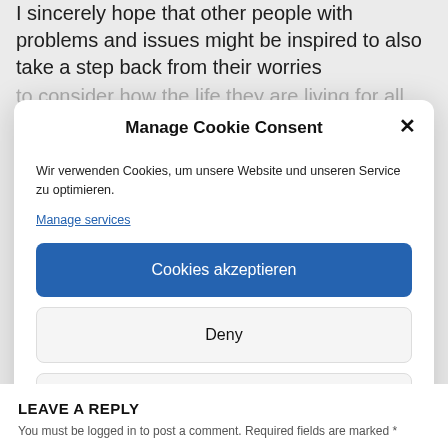I sincerely hope that other people with problems and issues might be inspired to also take a step back from their worries...
Manage Cookie Consent
Wir verwenden Cookies, um unsere Website und unseren Service zu optimieren.
Manage services
Cookies akzeptieren
Deny
Einstellungen anzeigen
Cookie-Richtlinie   Data protection
LEAVE A REPLY
You must be logged in to post a comment. Required fields are marked *